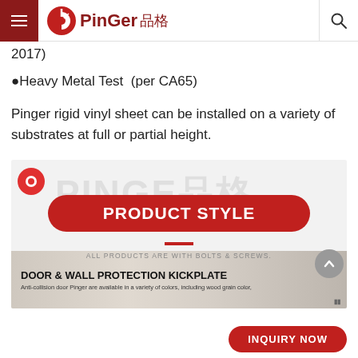PinGer 品格
2017)
●Heavy Metal Test (per CA65)
Pinger rigid vinyl sheet can be installed on a variety of substrates at full or partial height.
[Figure (infographic): Product style section with watermark text PINGE 品格, a red pill-shaped button reading PRODUCT STYLE, a red horizontal underline, text ALL PRODUCTS ARE WITH BOLTS & SCREWS., a scroll-up arrow button, and a product image band showing DOOR & WALL PROTECTION KICKPLATE with subtitle about anti-collision door Pinger colors including wood grain color.]
INQUIRY NOW